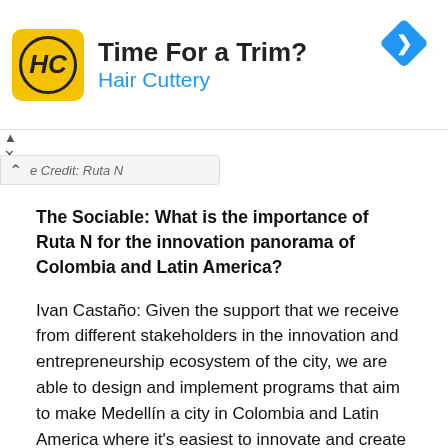[Figure (other): Hair Cuttery advertisement banner with logo, 'Time For a Trim?' headline, blue navigation arrow icon, and ad controls]
e Credit: Ruta N
The Sociable: What is the importance of Ruta N for the innovation panorama of Colombia and Latin America?
Ivan Castaño: Given the support that we receive from different stakeholders in the innovation and entrepreneurship ecosystem of the city, we are able to design and implement programs that aim to make Medellín a city in Colombia and Latin America where it's easiest to innovate and create new tech-based businesses. Ruta N's primary importance is in being the living proof that betting on science, technology, and innovation is the way forward in creating sustainable and inclusive perspectives, starting locally but with the potential to scale nationally and even regionally.